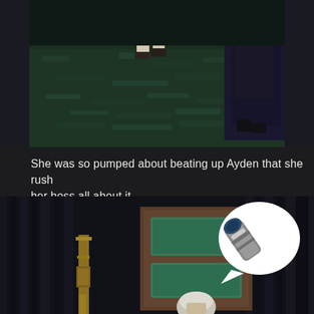[Figure (screenshot): Dark nighttime scene showing legs of a figure standing on a textured green ground, with another dark-clothed figure partially visible on the right side]
She was so pumped about beating up Ayden that she rushed to tell her boss all about it.
[Figure (screenshot): Dark indoor scene showing a character with white/grey hair near a wooden door or cabinet, with a speech bubble containing an image of a flashlight or cylindrical device]